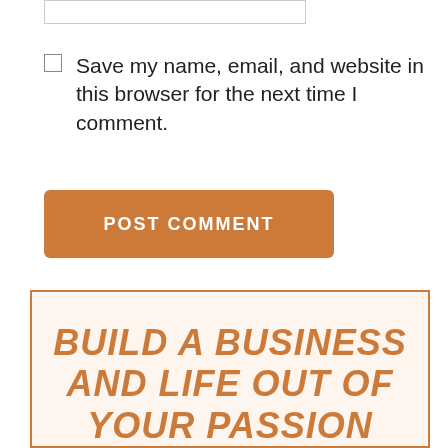[Figure (other): Partial top of an input text box]
Save my name, email, and website in this browser for the next time I comment.
POST COMMENT
[Figure (infographic): Promotional banner with orange border on cream background. Bold italic uppercase text reads 'BUILD A BUSINESS AND LIFE OUT OF YOUR PASSION', followed by an orange star divider, then script text beginning 'Grab your']